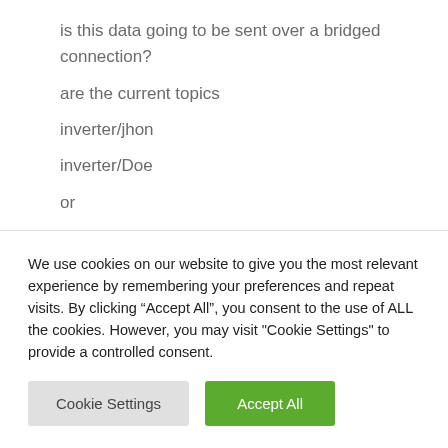is this data going to be sent over a bridged connection?
are the current topics
inverter/jhon
inverter/Doe
or
inverter/Name:Jhon
etc
We use cookies on our website to give you the most relevant experience by remembering your preferences and repeat visits. By clicking “Accept All”, you consent to the use of ALL the cookies. However, you may visit "Cookie Settings" to provide a controlled consent.